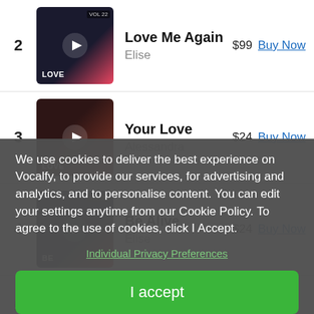2 - Love Me Again by Elise, $99, Buy Now
3 - Your Love by Alessandra, $24, Buy Now
4 - Be Alive by Elise, $24, Buy Now
5 - Blame ...
We use cookies to deliver the best experience on Vocalfy, to provide our services, for advertising and analytics, and to personalise content. You can edit your settings anytime from our Cookie Policy. To agree to the use of cookies, click I Accept.
Individual Privacy Preferences
I accept